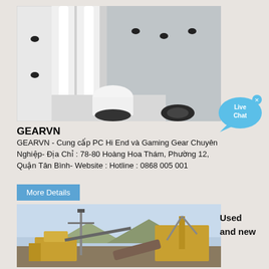[Figure (photo): White industrial machine parts with cylindrical tubes and black fasteners mounted on panels]
[Figure (infographic): Live Chat speech bubble icon in blue with x close button]
GEARVN
GEARVN - Cung cấp PC Hi End và Gaming Gear Chuyên Nghiệp- Địa Chỉ : 78-80 Hoàng Hoa Thám, Phường 12, Quận Tân Bình- Website : Hotline : 0868 005 001
More Details
[Figure (photo): Outdoor industrial construction site with heavy machinery, crane, and conveyor equipment under blue sky]
Used and new